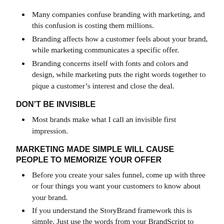Many companies confuse branding with marketing, and this confusion is costing them millions.
Branding affects how a customer feels about your brand, while marketing communicates a specific offer.
Branding concerns itself with fonts and colors and design, while marketing puts the right words together to pique a customer's interest and close the deal.
DON'T BE INVISIBLE
Most brands make what I call an invisible first impression.
MARKETING MADE SIMPLE WILL CAUSE PEOPLE TO MEMORIZE YOUR OFFER
Before you create your sales funnel, come up with three or four things you want your customers to know about your brand.
If you understand the StoryBrand framework this is simple. Just use the words from your BrandScript to create your key messages for each.